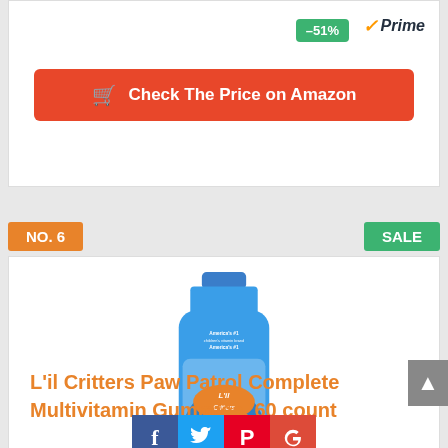[Figure (other): Green badge showing -51% discount and Amazon Prime logo]
[Figure (other): Red button: Check The Price on Amazon with shopping cart icon]
NO. 6
SALE
[Figure (photo): L'il Critters Paw Patrol Complete Multivitamin Gummies bottle, 60 count — blue bottle with Paw Patrol characters]
L'il Critters Paw Patrol Complete Multivitamin Gummies, 60 count
[Figure (other): Social sharing buttons: Facebook, Twitter, Pinterest, Google Plus; Amazon Prime logo (faded)]